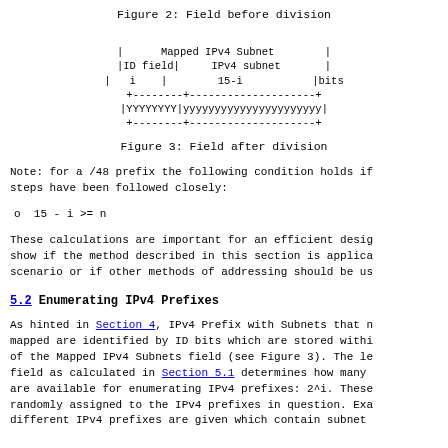Figure 2: Field before division
[Figure (schematic): ASCII diagram showing field before division with Mapped IPv4 Subnet, ID field, IPv4 subnet sections, with i and 15-i bit widths, and rows of YYYYYYYY and yyyyyyyyyyyyyyyyyy]
Figure 3: Field after division
Note: for a /48 prefix the following condition holds if steps have been followed closely:
o  15 - i >= n
These calculations are important for an efficient desig show if the method described in this section is applica scenario or if other methods of addressing should be us
5.2 Enumerating IPv4 Prefixes
As hinted in Section 4, IPv4 Prefix with Subnets that n mapped are identified by ID bits which are stored withi of the Mapped IPv4 Subnets field (see Figure 3). The le field as calculated in Section 5.1 determines how many are available for enumerating IPv4 prefixes: 2^i. These randomly assigned to the IPv4 prefixes in question. Exa different IPv4 prefixes are given which contain subnet